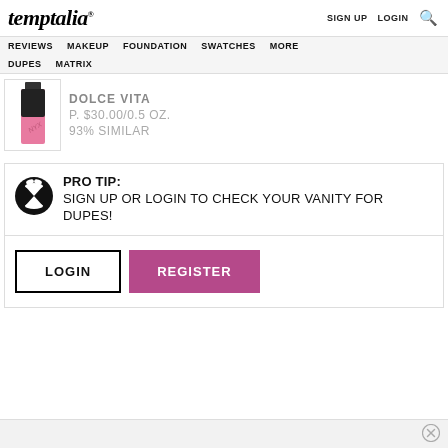temptalia® — SIGN UP  LOGIN 🔍
REVIEWS  MAKEUP  FOUNDATION  SWATCHES  MORE  DUPES  MATRIX
[Figure (photo): Product image: dark bottle with pink lip product, partially cut off]
DOLCE VITA
P. $30.00/0.5 OZ.
93% SIMILAR
PRO TIP: SIGN UP OR LOGIN TO CHECK YOUR VANITY FOR DUPES!
LOGIN
REGISTER